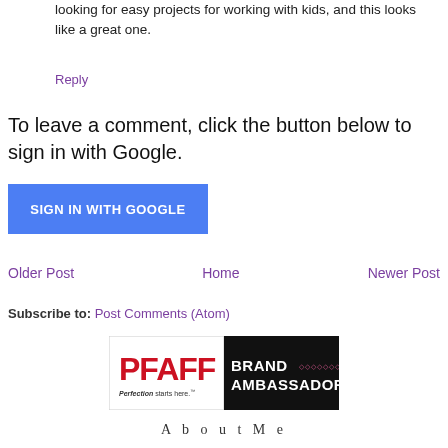looking for easy projects for working with kids, and this looks like a great one.
Reply
To leave a comment, click the button below to sign in with Google.
SIGN IN WITH GOOGLE
Older Post
Home
Newer Post
Subscribe to: Post Comments (Atom)
[Figure (logo): PFAFF Brand Ambassador logo — white left panel with red PFAFF text and 'Perfection starts here.' tagline, black right panel with white 'BRAND AMBASSADOR' text and decorative stitching pattern]
About Me